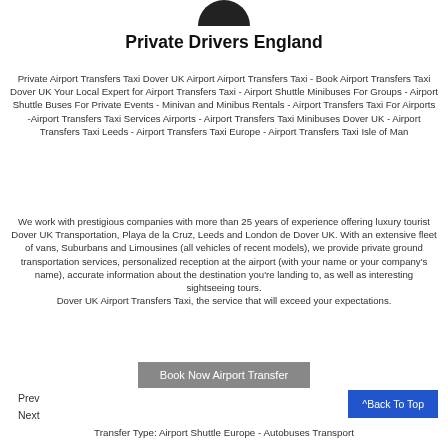[Figure (logo): Black semicircle/logo at top center]
Private Drivers England
Private Airport Transfers Taxi Dover UK Airport Airport Transfers Taxi - Book Airport Transfers Taxi Dover UK Your Local Expert for Airport Transfers Taxi - Airport Shuttle Minibuses For Groups - Airport Shuttle Buses For Private Events - Minivan and Minibus Rentals - Airport Transfers Taxi For Airports -Airport Transfers Taxi Services Airports - Airport Transfers Taxi Minibuses Dover UK - Airport Transfers Taxi Leeds - Airport Transfers Taxi Europe - Airport Transfers Taxi Isle of Man
We work with prestigious companies with more than 25 years of experience offering luxury tourist Dover UK Transportation, Playa de la Cruz, Leeds and London de Dover UK. With an extensive fleet of vans, Suburbans and Limousines (all vehicles of recent models), we provide private ground transportation services, personalized reception at the airport (with your name or your company's name), accurate information about the destination you're landing to, as well as interesting sightseeing tours.
Dover UK Airport Transfers Taxi, the service that will exceed your expectations.
Book Now Airport Transfer
Prev
Next
^Back To Top
Transfer Type: Airport Shuttle Europe - Autobuses Transport